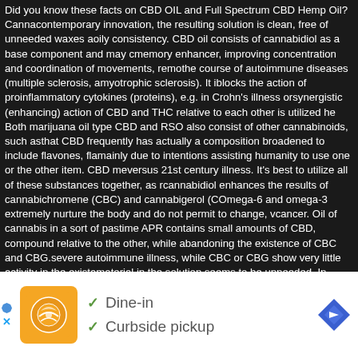Did you know these facts on CBD OIL and Full Spectrum CBD Hemp Oil? Cannabis contemporary innovation, the resulting solution is clean, free of unneeded waxes and oily consistency. CBD oil consists of cannabidiol as a base component and may ce memory enhancer, improving concentration and coordination of movements, remo the course of autoimmune diseases (multiple sclerosis, amyotrophic sclerosis). It i blocks the action of proinflammatory cytokines (proteins), e.g. in Crohn's illness or synergistic (enhancing) action of CBD and THC relative to each other is utilized he Both marijuana oil type CBD and RSO also consist of other cannabinoids, such as that CBD frequently has actually a composition broadened to include flavones, fla mainly due to intentions assisting humanity to use one or the other item. CBD me versus 21st century illness. It's best to utilize all of these substances together, as r cannabidiol enhances the results of cannabichromene (CBC) and cannabigerol (C Omega-6 and omega-3 extremely nurture the body and do not permit to change, v cancer. Oil of cannabis in a sort of pastime APR contains small amounts of CBD, compound relative to the other, while abandoning the existence of CBC and CBG. severe autoimmune illness, while CBC or CBG show very little activity in the exista material in the solution seems to be unneeded. In addition, the marijuana strain fro cannabinoids. RSO oil is entirely unlawful in Poland, which is why it can not be go amateur approaches for acquiring it, but it's good to know that compounds obtaine solvent for the production of home RSO is normally gas, alcohol and even keroser so in reality, they do not bring anything brand-new to the medical world. Marijuana unknown, and began to find what our ancestors had currently seen and use the si mainly with pathology. Medical cannabis, contrary to its name, does not mean fer coiled in so-called "Joints", but a helpful oil without psychedelic THC. A basic indiv cannabinoids in the blood, can delight in increased immunity vulnerability includes cannabidiol as a base component and may consist of just trace amounts. Both ca such as ca rather us century dise balanced
[Figure (other): Advertisement overlay at bottom of page: white bar with orange logo (restaurant/food service), dine-in and curbside pickup options with checkmarks, close X button, navigation arrow icon]